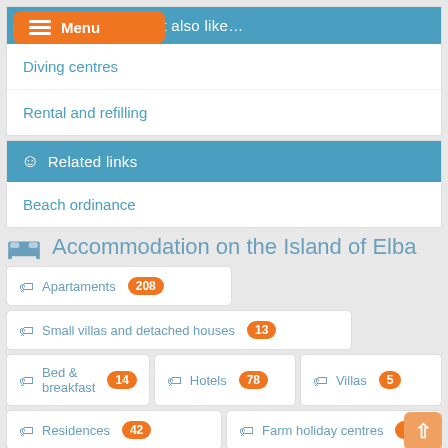…t also like…
Diving centres
Rental and refilling
Related links
Beach ordinance
Accommodation on the Island of Elba
Apartaments 208
Small villas and detached houses 13
Bed & breakfast 14
Hotels 78
Villas 5
Residences 42
Farm holiday centres 13